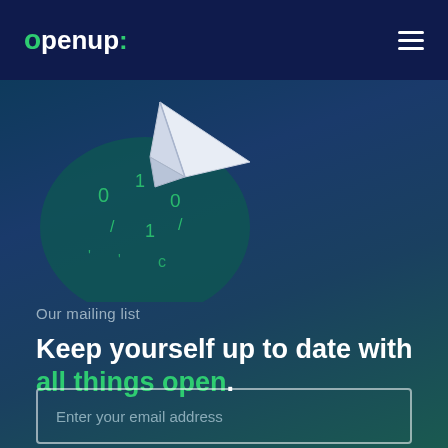[Figure (logo): openup: logo in white text with green colon and circular dot on dark navy background]
[Figure (illustration): White paper airplane flying above a teal circular background with green binary/code symbols scattered around]
Our mailing list
Keep yourself up to date with all things open.
Enter your email address